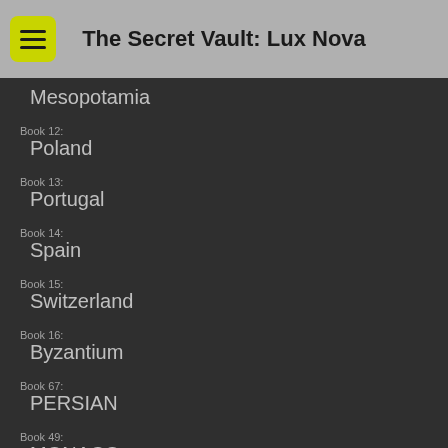The Secret Vault: Lux Nova
Mesopotamia
Book 12:
Poland
Book 13:
Portugal
Book 14:
Spain
Book 15:
Switzerland
Book 16:
Byzantium
Book 67:
PERSIAN
Book 49:
MONACO